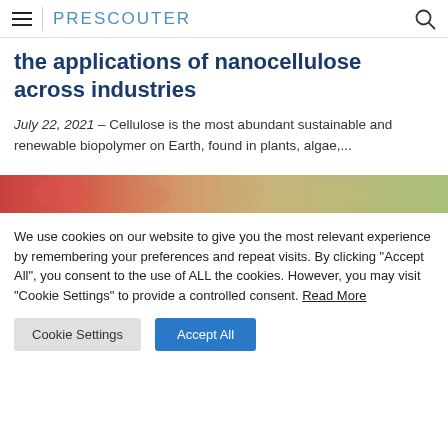PRESCOUTER
the applications of nanocellulose across industries
July 22, 2021 – Cellulose is the most abundant sustainable and renewable biopolymer on Earth, found in plants, algae,...
[Figure (photo): Partial view of a colorful image strip showing food/nature items in red, orange, tan, and green tones]
We use cookies on our website to give you the most relevant experience by remembering your preferences and repeat visits. By clicking "Accept All", you consent to the use of ALL the cookies. However, you may visit "Cookie Settings" to provide a controlled consent. Read More